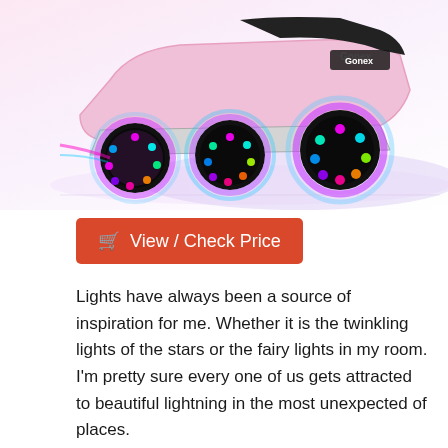[Figure (photo): Product image of Gonex inline roller skates with illuminated multicolor LED wheels glowing pink, purple, and green against a white background]
View / Check Price
Lights have always been a source of inspiration for me. Whether it is the twinkling lights of the stars or the fairy lights in my room. I'm pretty sure every one of us gets attracted to beautiful lightning in the most unexpected of places.
The same is the case with skates and kids. Whether it's the kiddy shoes that they wear that light up as soon as they put their little feet down or the skates as lightning up, as soon as they race in them. The beauty of these gone inline skates is the illuminating colors that the wheels impart. It sets a